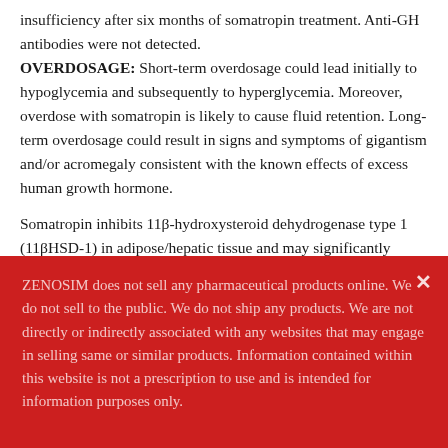insufficiency after six months of somatropin treatment. Anti-GH antibodies were not detected.
OVERDOSAGE: Short-term overdosage could lead initially to hypoglycemia and subsequently to hyperglycemia. Moreover, overdose with somatropin is likely to cause fluid retention. Long-term overdosage could result in signs and symptoms of gigantism and/or acromegaly consistent with the known effects of excess human growth hormone.
Somatropin inhibits 11β-hydroxysteroid dehydrogenase type 1 (11βHSD-1) in adipose/hepatic tissue and may significantly impact
ZENOSIM does not sell any pharmaceutical products online. We do not sell to the public. We do not ship any products. We are not directly or indirectly associated with any websites that may engage in selling same or similar products. Information contained within this website is not a prescription to use and is intended for information purposes only.